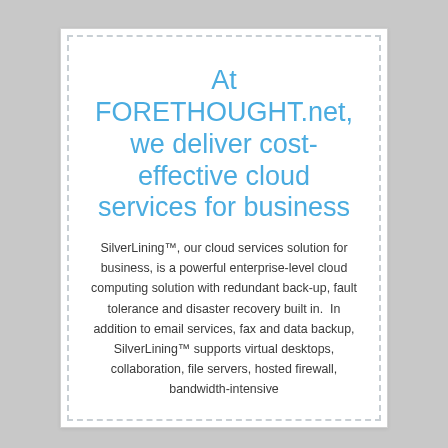At FORETHOUGHT.net, we deliver cost-effective cloud services for business
SilverLining™, our cloud services solution for business, is a powerful enterprise-level cloud computing solution with redundant back-up, fault tolerance and disaster recovery built in.  In addition to email services, fax and data backup, SilverLining™ supports virtual desktops, collaboration, file servers, hosted firewall, bandwidth-intensive